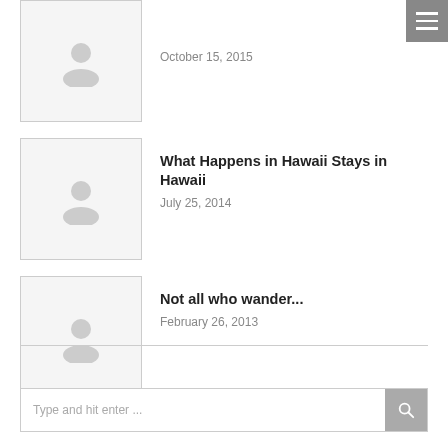[Figure (illustration): Placeholder thumbnail image with a person silhouette icon, first post]
October 15, 2015
[Figure (illustration): Placeholder thumbnail image with a person silhouette icon, second post]
What Happens in Hawaii Stays in Hawaii
July 25, 2014
[Figure (illustration): Placeholder thumbnail image with a person silhouette icon, third post]
Not all who wander...
February 26, 2013
Type and hit enter ...